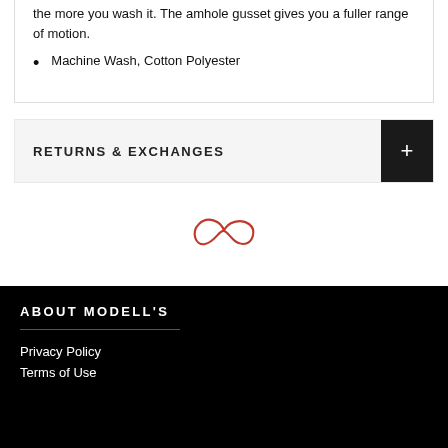the more you wash it. The amhole gusset gives you a fuller range of motion.
Machine Wash, Cotton Polyester
RETURNS & EXCHANGES
[Figure (logo): Red infinity/script loop logo mark]
ABOUT MODELL'S
Privacy Policy
Terms of Use